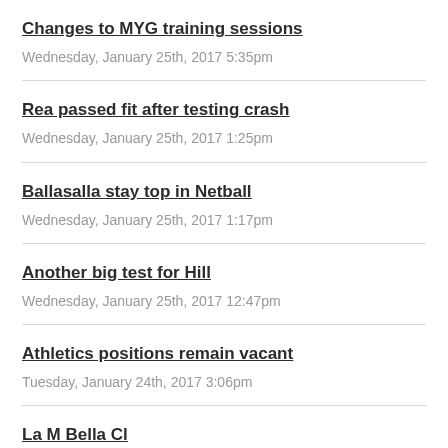Changes to MYG training sessions
Wednesday, January 25th, 2017 5:35pm
Rea passed fit after testing crash
Wednesday, January 25th, 2017 1:25pm
Ballasalla stay top in Netball
Wednesday, January 25th, 2017 1:17pm
Another big test for Hill
Wednesday, January 25th, 2017 12:47pm
Athletics positions remain vacant
Tuesday, January 24th, 2017 3:06pm
La M Bella Cl... (partial, cut off)